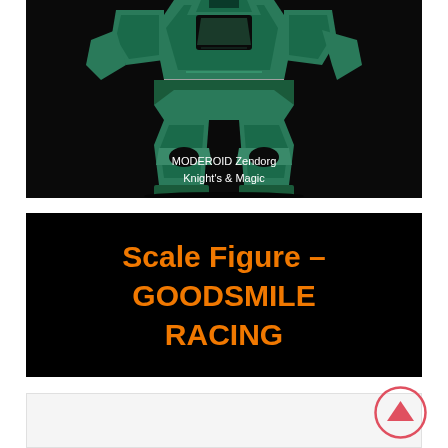[Figure (photo): Green and black robotic mecha figure (MODEROID Zendorg from Knight's & Magic) photographed against a black background, shown from mid-torso down with angular armor plating in teal/green and silver.]
MODEROID Zendorg
Knight's & Magic
[Figure (other): Black banner section with bold orange text reading 'Scale Figure – GOODSMILE RACING']
Scale Figure – GOODSMILE RACING
[Figure (other): Back-to-top button: pink/red circle with upward-pointing triangle arrow inside]